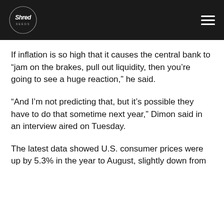[Figure (logo): Shred Seeds logo in a circular badge on a dark header bar with hamburger menu icon on the right]
If inflation is so high that it causes the central bank to “jam on the brakes, pull out liquidity, then you’re going to see a huge reaction,” he said.
“And I’m not predicting that, but it’s possible they have to do that sometime next year,” Dimon said in an interview aired on Tuesday.
The latest data showed U.S. consumer prices were up by 5.3% in the year to August, slightly down from